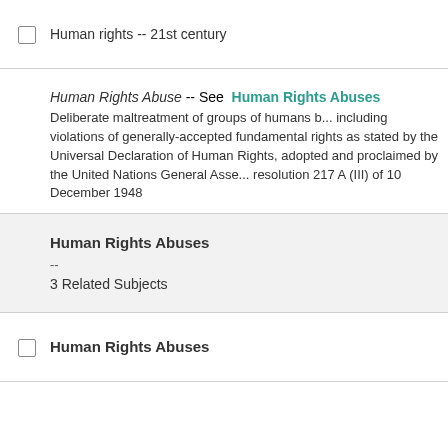Human rights -- 21st century
Human Rights Abuse -- See Human Rights Abuses
Deliberate maltreatment of groups of humans b... including violations of generally-accepted fundamental rights as stated by the Universal Declaration of Human Rights, adopted and proclaimed by the United Nations General Asse... resolution 217 A (III) of 10 December 1948
Human Rights Abuses
--
3 Related Subjects
Human Rights Abuses